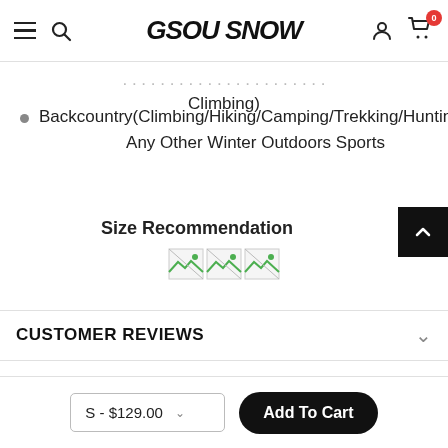GSOU SNOW
Climbing)
Backcountry(Climbing/Hiking/Camping/Trekking/Hunting), Any Other Winter Outdoors Sports
Size Recommendation
[Figure (photo): Three broken/missing image icons representing size recommendation images]
CUSTOMER REVIEWS
SHIPPING
S - $129.00
Add To Cart